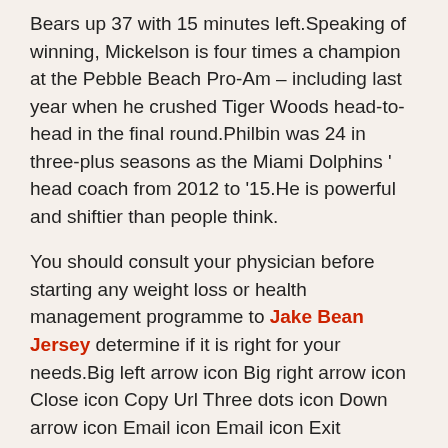Bears up 37 with 15 minutes left.Speaking of winning, Mickelson is four times a champion at the Pebble Beach Pro-Am – including last year when he crushed Tiger Woods head-to-head in the final round.Philbin was 24 in three-plus seasons as the Miami Dolphins ' head coach from 2012 to '15.He is powerful and shiftier than people think.
You should consult your physician before starting any weight loss or health management programme to Jake Bean Jersey determine if it is right for your needs.Big left arrow icon Big right arrow icon Close icon Copy Url Three dots icon Down arrow icon Email icon Email icon Exit Fullscreen icon External link icon Facebook logo Facebook logo Instagram logo Snapchat logo YouTube logo Grid icon Key icon Left arrow icon Link icon Location icon Mail icon Menu icon Open icon Phone icon Play icon Radio